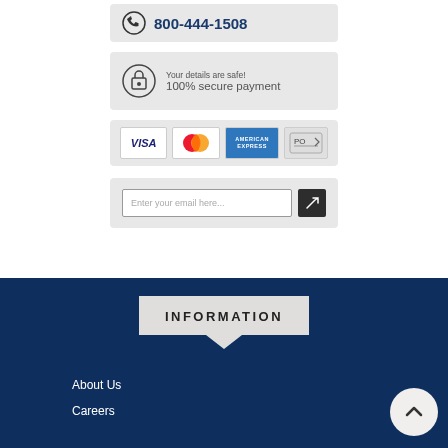800-444-1508
Your details are safe! 100% secure payment
[Figure (infographic): Payment method logos: VISA, MasterCard, American Express, PO/check]
Enter your email here...
INFORMATION
About Us
Careers